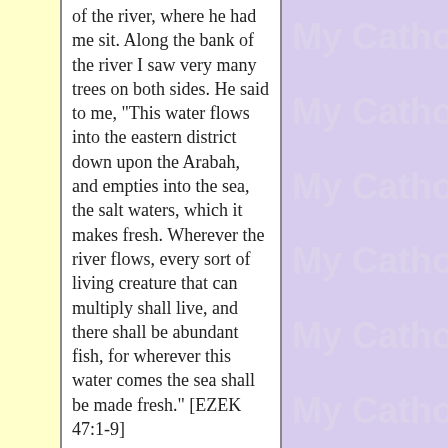of the river, where he had me sit. Along the bank of the river I saw very many trees on both sides. He said to me, "This water flows into the eastern district down upon the Arabah, and empties into the sea, the salt waters, which it makes fresh. Wherever the river flows, every sort of living creature that can multiply shall live, and there shall be abundant fish, for wherever this water comes the sea shall be made fresh." [EZEK 47:1-9]
Blessed are you in the temple of you holy glory, praiseworthy and glorious above all forever. [DAN 3:53]
[Figure (other): Repeating watermark text 'My Catho' in light lavender/cream color on purple background, appearing 6 times vertically]